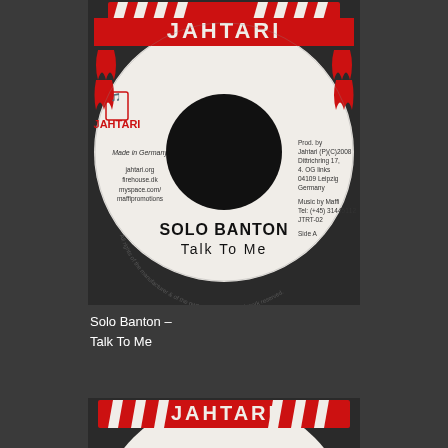[Figure (photo): A vinyl record label for Jahtari Records showing Solo Banton - Talk To Me (Side A). White label with red Jahtari logo/text at top, black center hole, text including 'Made in Germany', website URLs (jahtari.org, firehouse.dk, myspace.com/maffipromotions), production info (Prod. by Jahtari, Dittrichring 17, 4. OG links, 04109 Leipzig, Germany), Music by Maffi, Tel, JTRT-02, Side A. Artist: SOLO BANTON, Title: Talk To Me. Curved text around bottom: 'All rights of the manufacturer & of the owner of the recorded work reserved.']
Solo Banton – Talk To Me
[Figure (photo): Partial view of a second vinyl record label (bottom of page), showing only the top portion with the red Jahtari logo text visible against a white label background.]